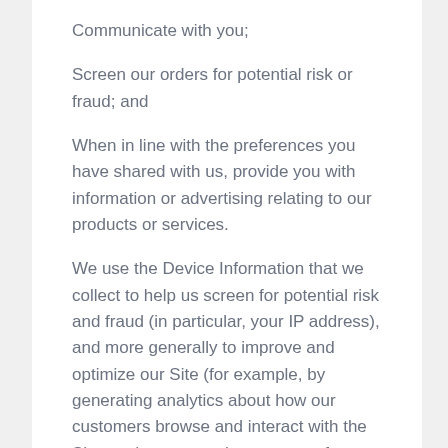Communicate with you;
Screen our orders for potential risk or fraud; and
When in line with the preferences you have shared with us, provide you with information or advertising relating to our products or services.
We use the Device Information that we collect to help us screen for potential risk and fraud (in particular, your IP address), and more generally to improve and optimize our Site (for example, by generating analytics about how our customers browse and interact with the Site, and to assess the success of our marketing and advertising campaigns).
The majority of Device Information is done through cookies. Cookies also collect Personal Information...